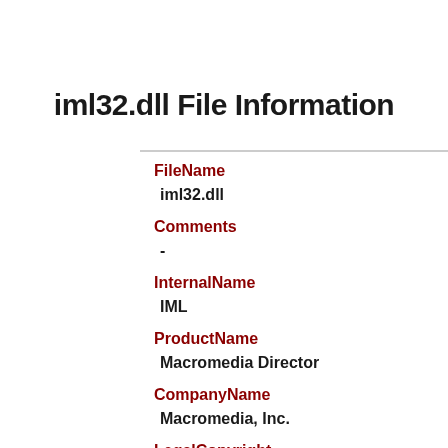iml32.dll File Information
| Field | Value |
| --- | --- |
| FileName | iml32.dll |
| Comments | - |
| InternalName | IML |
| ProductName | Macromedia Director |
| CompanyName | Macromedia, Inc. |
| LegalCopyright |  |